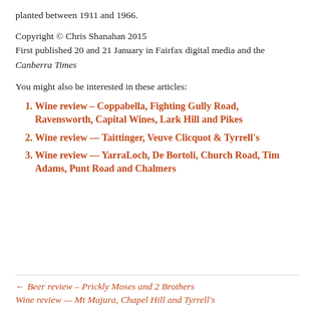planted between 1911 and 1966.
Copyright © Chris Shanahan 2015
First published 20 and 21 January in Fairfax digital media and the Canberra Times
You might also be interested in these articles:
Wine review – Coppabella, Fighting Gully Road, Ravensworth, Capital Wines, Lark Hill and Pikes
Wine review — Taittinger, Veuve Clicquot & Tyrrell's
Wine review — YarraLoch, De Bortoli, Church Road, Tim Adams, Punt Road and Chalmers
← Beer review – Prickly Moses and 2 Brothers
Wine review — Mt Majura, Chapel Hill and Tyrrell's